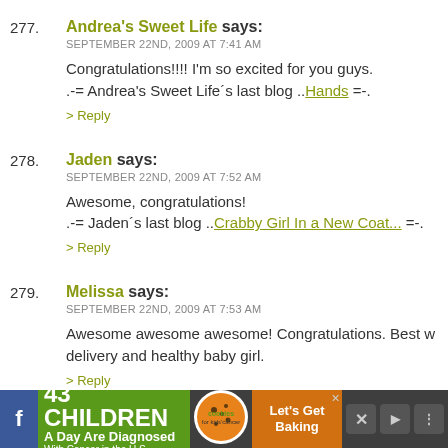277. Andrea's Sweet Life says: SEPTEMBER 22ND, 2009 AT 7:41 AM
Congratulations!!!! I'm so excited for you guys.
.-= Andrea's Sweet Life's last blog ..Hands =-.
> Reply
278. Jaden says: SEPTEMBER 22ND, 2009 AT 7:52 AM
Awesome, congratulations!
.-= Jaden's last blog ..Crabby Girl In a New Coat... =-.
> Reply
279. Melissa says: SEPTEMBER 22ND, 2009 AT 7:53 AM
Awesome awesome awesome! Congratulations. Best w... delivery and healthy baby girl.
> Reply
[Figure (infographic): Advertisement banner: '43 CHILDREN A Day Are Diagnosed With Cancer in the U.S.' with cookies for kids' cancer logo and 'Let's Get Baking' call to action. Dark background with social media icons.]